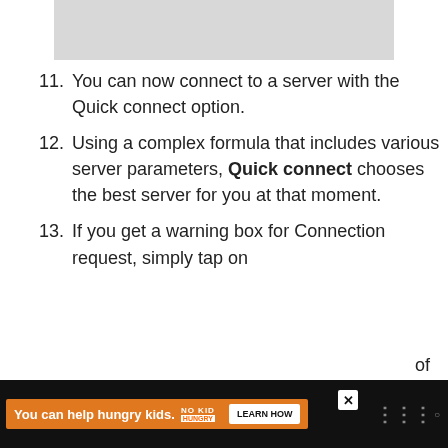[Figure (screenshot): Grey placeholder image area at top of page]
11. You can now connect to a server with the Quick connect option.
12. Using a complex formula that includes various server parameters, Quick connect chooses the best server for you at that moment.
13. If you get a warning box for Connection request, simply tap on
of